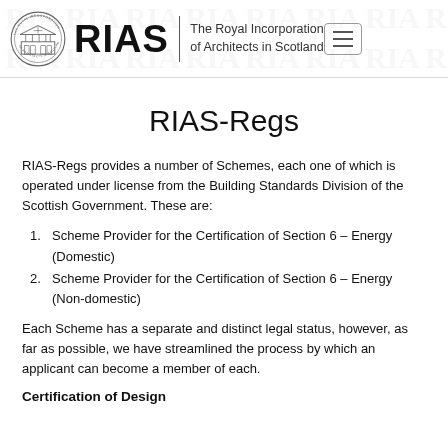RIAS | The Royal Incorporation of Architects in Scotland
RIAS-Regs
RIAS-Regs provides a number of Schemes, each one of which is operated under license from the Building Standards Division of the Scottish Government. These are:
1. Scheme Provider for the Certification of Section 6 – Energy (Domestic)
2. Scheme Provider for the Certification of Section 6 – Energy (Non-domestic)
Each Scheme has a separate and distinct legal status, however, as far as possible, we have streamlined the process by which an applicant can become a member of each.
Certification of Design